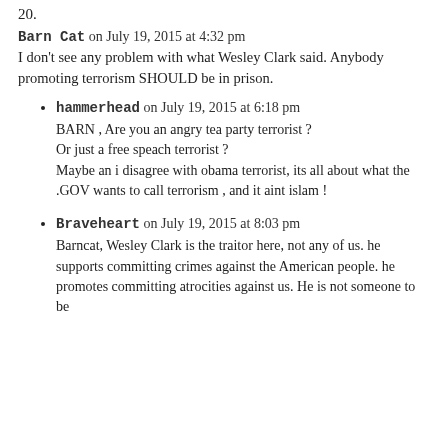20.
Barn Cat on July 19, 2015 at 4:32 pm
I don't see any problem with what Wesley Clark said. Anybody promoting terrorism SHOULD be in prison.
hammerhead on July 19, 2015 at 6:18 pm
BARN , Are you an angry tea party terrorist ?
Or just a free speach terrorist ?
Maybe an i disagree with obama terrorist, its all about what the .GOV wants to call terrorism , and it aint islam !
Braveheart on July 19, 2015 at 8:03 pm
Barncat, Wesley Clark is the traitor here, not any of us. he supports committing crimes against the American people. he promotes committing atrocities against us. He is not someone to be